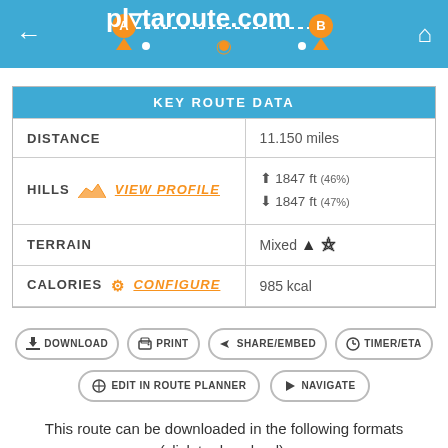plotaroute.com
| KEY ROUTE DATA |  |
| --- | --- |
| DISTANCE | 11.150 miles |
| HILLS  View Profile | ↑ 1847 ft (46%)
↓ 1847 ft (47%) |
| TERRAIN | Mixed 🅐 🌲 |
| CALORIES  Configure | 985 kcal |
DOWNLOAD  PRINT  SHARE/EMBED  TIMER/ETA
EDIT IN ROUTE PLANNER  NAVIGATE
This route can be downloaded in the following formats (click to download):